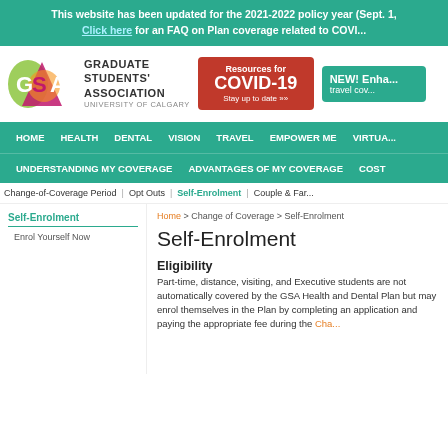This website has been updated for the 2021-2022 policy year (Sept. 1, Click here for an FAQ on Plan coverage related to COVID
[Figure (logo): Graduate Students' Association University of Calgary logo with colorful GSA letters]
[Figure (infographic): Resources for COVID-19 Stay up to date banner in red]
[Figure (infographic): NEW! Enhanced travel coverage banner in teal/green]
HOME   HEALTH   DENTAL   VISION   TRAVEL   EMPOWER ME   VIRTUAL
UNDERSTANDING MY COVERAGE   ADVANTAGES OF MY COVERAGE   COST
Change-of-Coverage Period  |  Opt Outs  |  Self-Enrolment  |  Couple & Family
Self-Enrolment
Enrol Yourself Now
Home > Change of Coverage > Self-Enrolment
Self-Enrolment
Eligibility
Part-time, distance, visiting, and Executive students are not automatically covered by the GSA Health and Dental Plan but may enrol themselves in the Plan by completing an application and paying the appropriate fee during the Change...